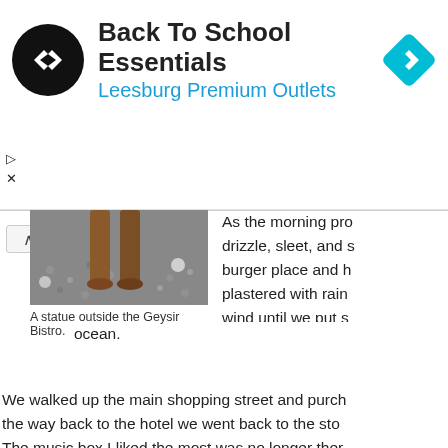[Figure (screenshot): Ad banner for Back To School Essentials at Leesburg Premium Outlets with circular black logo and blue navigation diamond icon]
[Figure (photo): A statue outside the Geysir Bistro — close-up of feet/legs of a statue standing on gravel]
A statue outside the Geysir Bistro.
As the morning pro drizzle, sleet, and s burger place and h plastered with rain wind until we put s ocean.
We walked up the main shopping street and purch the way back to the hotel we went back to the sto The music box I liked the most was no longer ther you lose.
Back at the hotel I called to confirm our tour and